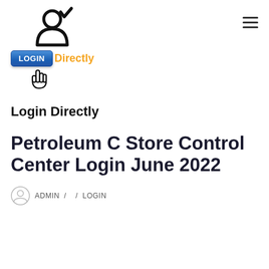[Figure (logo): Login Directly website logo with person icon with checkmark, blue LOGIN button, orange 'Directly' text, and hand cursor icon]
Login Directly
Petroleum C Store Control Center Login June 2022
ADMIN / / LOGIN